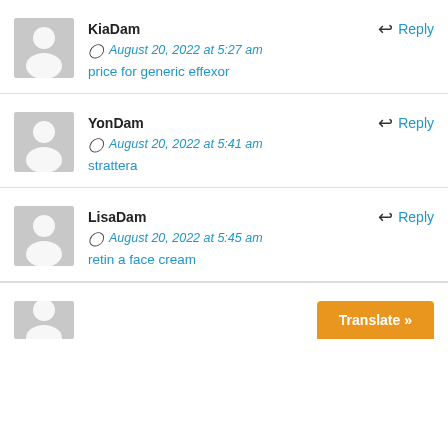KiaDam — August 20, 2022 at 5:27 am — price for generic effexor
YonDam — August 20, 2022 at 5:41 am — strattera
LisaDam — August 20, 2022 at 5:45 am — retin a face cream
Translate »